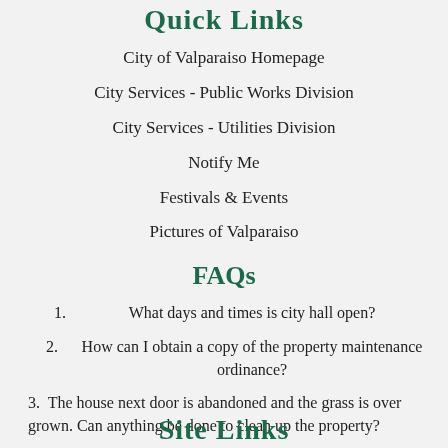Quick Links
City of Valparaiso Homepage
City Services - Public Works Division
City Services - Utilities Division
Notify Me
Festivals & Events
Pictures of Valparaiso
FAQs
1. What days and times is city hall open?
2. How can I obtain a copy of the property maintenance ordinance?
3. The house next door is abandoned and the grass is over grown. Can anything be done to clean up the property?
Site Links